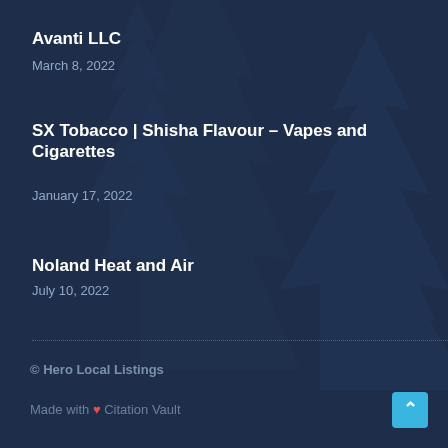Avanti LLC
March 8, 2022
SX Tobacco | Shisha Flavour – Vapes and Cigarettes
January 17, 2022
Noland Heat and Air
July 10, 2022
© Hero Local Listings
Made with ❤ Citation Vault